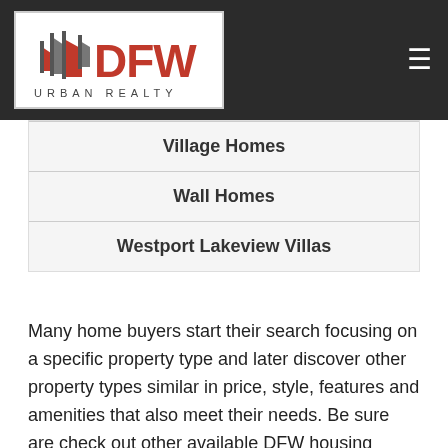[Figure (logo): DFW Urban Realty logo with stylized flag icons in red and gray, text 'DFW URBAN REALTY']
Village Homes
Wall Homes
Westport Lakeview Villas
Many home buyers start their search focusing on a specific property type and later discover other property types similar in price, style, features and amenities that also meet their needs. Be sure are check out other available DFW housing types and lifestyles below including DFW homes, new homes,